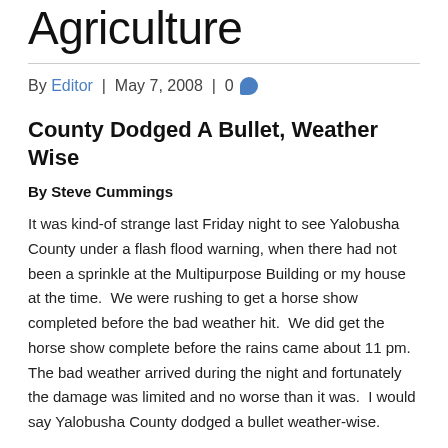Agriculture
By Editor | May 7, 2008 | 0
County Dodged A Bullet, Weather Wise
By Steve Cummings
It was kind-of strange last Friday night to see Yalobusha County under a flash flood warning, when there had not been a sprinkle at the Multipurpose Building or my house at the time.  We were rushing to get a horse show completed before the bad weather hit.  We did get the horse show complete before the rains came about 11 pm.  The bad weather arrived during the night and fortunately the damage was limited and no worse than it was.  I would say Yalobusha County dodged a bullet weather-wise.
The Yalobusha County Homemakers are hosting a quilt show this Saturday, May 10th, at the Yalobusha County Multipurpose Building from 10 am – 3 pm.  I did not know a quilt show was such a big thing.  There will be vendors, a county store, hanging baskets, etc.  Also,